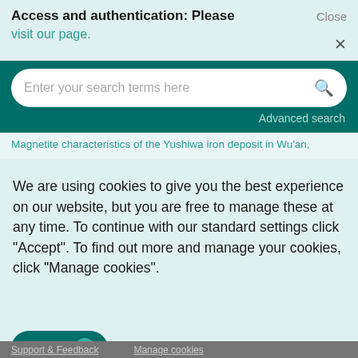Access and authentication: Please visit our page.
[Figure (screenshot): Search bar with placeholder text 'Enter your search terms here' and a magnifying glass icon on a teal background, with 'Advanced search' link below]
Magnetite characteristics of the Yushiwa iron deposit in Wu'an,
We are using cookies to give you the best experience on our website, but you are free to manage these at any time. To continue with our standard settings click "Accept". To find out more and manage your cookies, click "Manage cookies".
Accept  ✓    Manage cookies    ✕